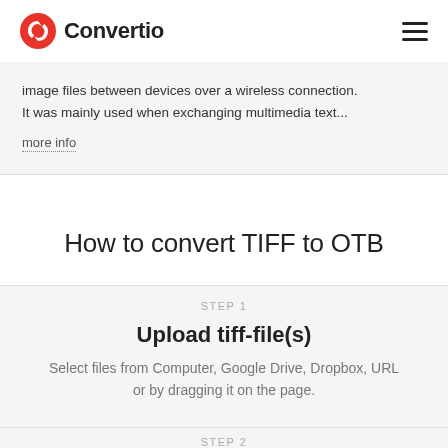Convertio
image files between devices over a wireless connection. It was mainly used when exchanging multimedia text...
more info
How to convert TIFF to OTB
STEP 1
Upload tiff-file(s)
Select files from Computer, Google Drive, Dropbox, URL or by dragging it on the page.
STEP 2